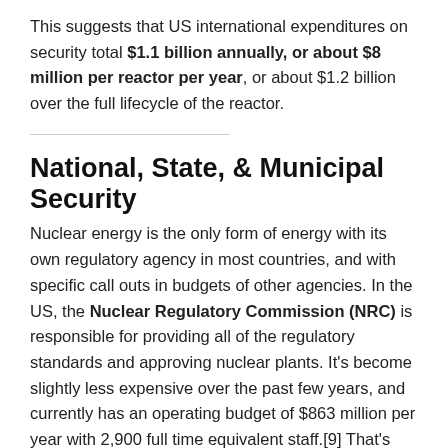This suggests that US international expenditures on security total $1.1 billion annually, or about $8 million per reactor per year, or about $1.2 billion over the full lifecycle of the reactor.
National, State, & Municipal Security
Nuclear energy is the only form of energy with its own regulatory agency in most countries, and with specific call outs in budgets of other agencies. In the US, the Nuclear Regulatory Commission (NRC) is responsible for providing all of the regulatory standards and approving nuclear plants. It's become slightly less expensive over the past few years, and currently has an operating budget of $863 million per year with 2,900 full time equivalent staff.[9] That's about $6.4 million per reactor per year, as the ones in construction and operation have to continue to file regulatory paperwork.